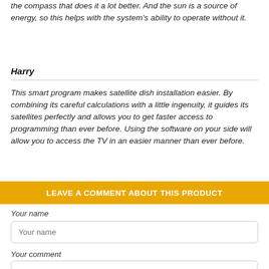the compass that does it a lot better. And the sun is a source of energy, so this helps with the system's ability to operate without it.
Harry
This smart program makes satellite dish installation easier. By combining its careful calculations with a little ingenuity, it guides its satellites perfectly and allows you to get faster access to programming than ever before. Using the software on your side will allow you to access the TV in an easier manner than ever before.
LEAVE A COMMENT ABOUT THIS PRODUCT
Your name
Your name
Your comment